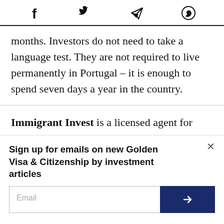Social sharing icons: Facebook, Twitter, Telegram, WhatsApp
months. Investors do not need to take a language test. They are not required to live permanently in Portugal – it is enough to spend seven days a year in the country.
Immigrant Invest is a licensed agent for
Sign up for emails on new Golden Visa & Citizenship by investment articles
Email